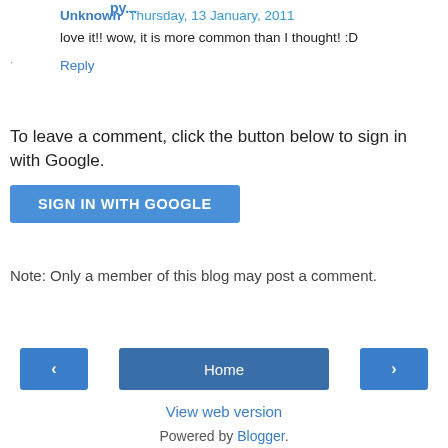Reply
Unknown  Thursday, 13 January, 2011
love it!! wow, it is more common than I thought! :D
Reply
To leave a comment, click the button below to sign in with Google.
[Figure (other): SIGN IN WITH GOOGLE button]
Note: Only a member of this blog may post a comment.
[Figure (other): Navigation bar with previous arrow button, Home button, and next arrow button]
View web version
Powered by Blogger.